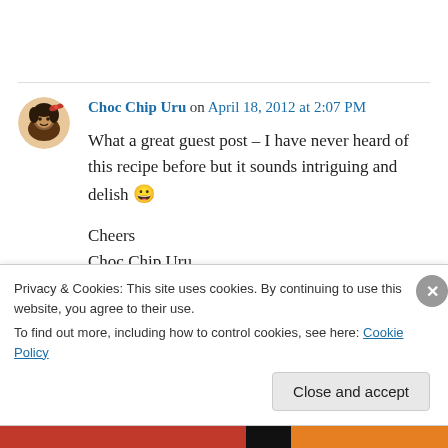[Figure (photo): Avatar/profile image of Choc Chip Uru, a cartoon-style illustration of a girl with dark hair and a bow]
Choc Chip Uru on April 18, 2012 at 2:07 PM
What a great guest post – I have never heard of this recipe before but it sounds intriguing and delish 😀

Cheers
Choc Chip Uru
Privacy & Cookies: This site uses cookies. By continuing to use this website, you agree to their use.
To find out more, including how to control cookies, see here: Cookie Policy
Close and accept